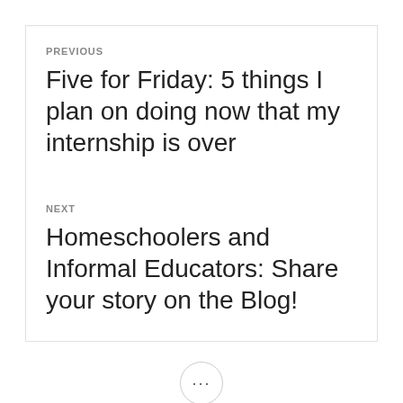PREVIOUS
Five for Friday: 5 things I plan on doing now that my internship is over
NEXT
Homeschoolers and Informal Educators: Share your story on the Blog!